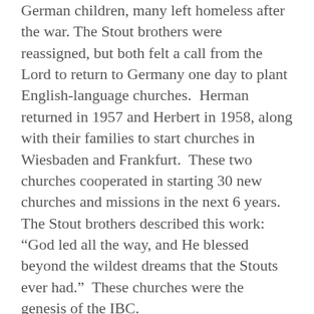German children, many left homeless after the war. The Stout brothers were reassigned, but both felt a call from the Lord to return to Germany one day to plant English-language churches. Herman returned in 1957 and Herbert in 1958, along with their families to start churches in Wiesbaden and Frankfurt. These two churches cooperated in starting 30 new churches and missions in the next 6 years. The Stout brothers described this work: "God led all the way, and He blessed beyond the wildest dreams that the Stouts ever had." These churches were the genesis of the IBC.
I met Herbert when he was in his 80s, still serving the Lord along with Mary, his wife. Even in his late 80s, he was leading Bible studies in the nursing care facility where he and Mary lived. The Stouts raised children who continue to love and serve the Lord